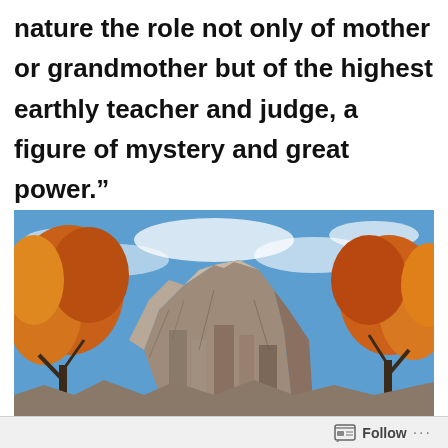nature the role not only of mother or grandmother but of the highest earthly teacher and judge, a figure of mystery and great power.”
[Figure (photo): Upward view of a tall rocky cliff or rock formation with autumn-colored trees (orange and yellow foliage) on either side, set against a blue sky with light clouds.]
Follow ...